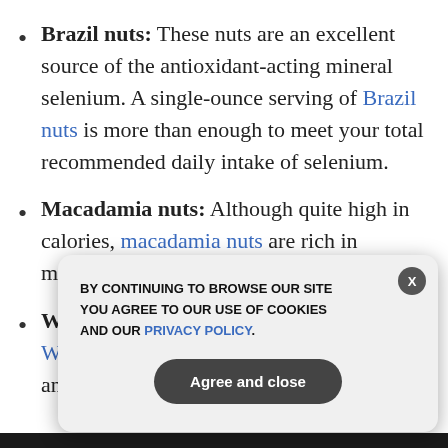Brazil nuts: These nuts are an excellent source of the antioxidant-acting mineral selenium. A single-ounce serving of Brazil nuts is more than enough to meet your total recommended daily intake of selenium.
Macadamia nuts: Although quite high in calories, macadamia nuts are rich in monounsaturated fats as well.
Walnuts: A truly heart-healthy nut. Walnuts are said to improve blood pressure and normalize blood flow.
GET THE WORLD'S BEST NATURAL HEALTH NEWSLETTER DELIVERED STRAIGHT TO YOUR INBOX
Enter Your Email Address
SUBSCRIBE
BY CONTINUING TO BROWSE OUR SITE YOU AGREE TO OUR USE OF COOKIES AND OUR PRIVACY POLICY.
Agree and close